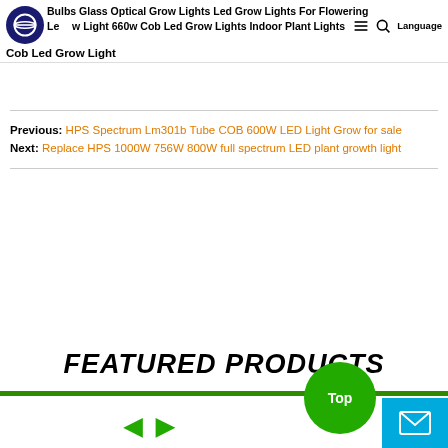Bulbs Glass Optical Grow Lights Led Grow Lights For Flowering Led Grow Light 660w Cob Led Grow Lights Indoor Plant Lights Cob Led Grow Light
Previous: HPS Spectrum Lm301b Tube COB 600W LED Light Grow for sale
Next: Replace HPS 1000W 756W 800W full spectrum LED plant growth light
FEATURED PRODUCTS